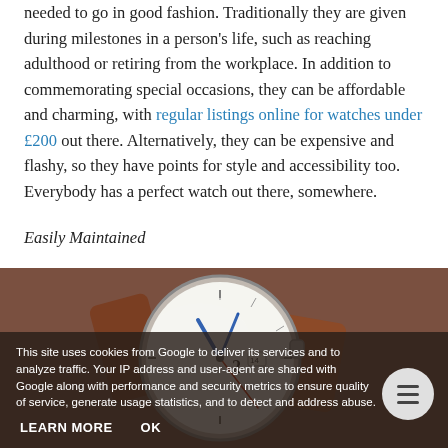needed to go in good fashion. Traditionally they are given during milestones in a person's life, such as reaching adulthood or retiring from the workplace. In addition to commemorating special occasions, they can be affordable and charming, with regular listings online for watches under £200 out there. Alternatively, they can be expensive and flashy, so they have points for style and accessibility too. Everybody has a perfect watch out there, somewhere.
Easily Maintained
[Figure (photo): Close-up photograph of a wristwatch with a white dial, blue hands, brown leather strap, and silver case, resting on a dark brown surface.]
This site uses cookies from Google to deliver its services and to analyze traffic. Your IP address and user-agent are shared with Google along with performance and security metrics to ensure quality of service, generate usage statistics, and to detect and address abuse.